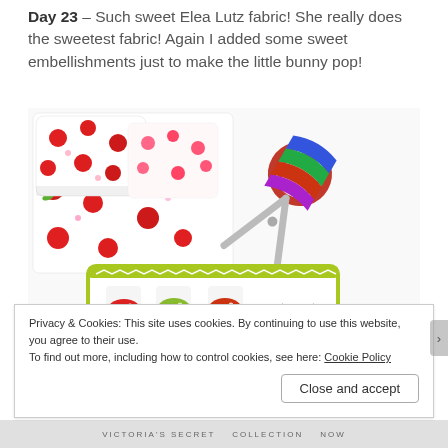Day 23 – Such sweet Elea Lutz fabric! She really does the sweetest fabric! Again I added some sweet embellishments just to make the little bunny pop!
[Figure (photo): Photo of colorful quilting fabrics featuring red apple/strawberry prints and a children's print with owls and apples, folded and arranged, alongside decorative multicolored scissors on a white background.]
Privacy & Cookies: This site uses cookies. By continuing to use this website, you agree to their use.
To find out more, including how to control cookies, see here: Cookie Policy